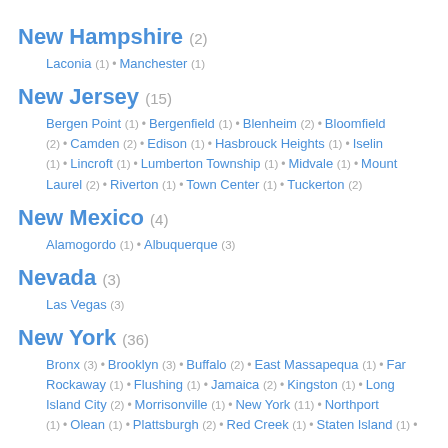New Hampshire (2)
Laconia (1) • Manchester (1)
New Jersey (15)
Bergen Point (1) • Bergenfield (1) • Blenheim (2) • Bloomfield (2) • Camden (2) • Edison (1) • Hasbrouck Heights (1) • Iselin (1) • Lincroft (1) • Lumberton Township (1) • Midvale (1) • Mount Laurel (2) • Riverton (1) • Town Center (1) • Tuckerton (2)
New Mexico (4)
Alamogordo (1) • Albuquerque (3)
Nevada (3)
Las Vegas (3)
New York (36)
Bronx (3) • Brooklyn (3) • Buffalo (2) • East Massapequa (1) • Far Rockaway (1) • Flushing (1) • Jamaica (2) • Kingston (1) • Long Island City (2) • Morrisonville (1) • New York (11) • Northport (1) • Olean (1) • Plattsburgh (2) • Red Creek (1) • Staten Island (1) •